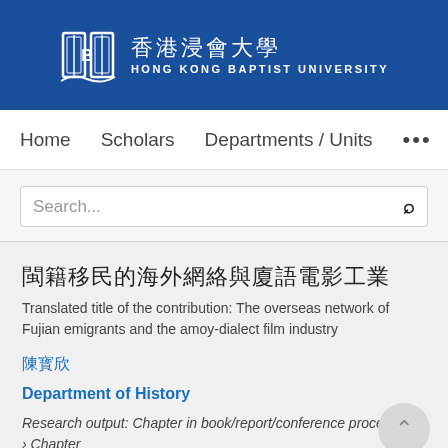[Figure (logo): Hong Kong Baptist University logo with book icon, Chinese characters 香港浸會大學, and English text HONG KONG BAPTIST UNIVERSITY on blue background]
Home   Scholars   Departments / Units   ...
Search...
閩籍移民的海外網絡與廈語電影工業
Translated title of the contribution: The overseas network of Fujian emigrants and the amoy-dialect film industry
陳寶欣
Department of History
Research output: Chapter in book/report/conference proceeding › Chapter